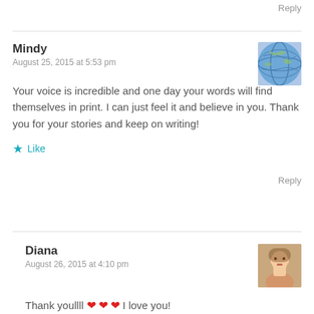Reply
Mindy
August 25, 2015 at 5:53 pm
Your voice is incredible and one day your words will find themselves in print. I can just feel it and believe in you. Thank you for your stories and keep on writing!
Like
Reply
Diana
August 26, 2015 at 4:10 pm
Thank youllll ❤ ❤ ❤ I love you!